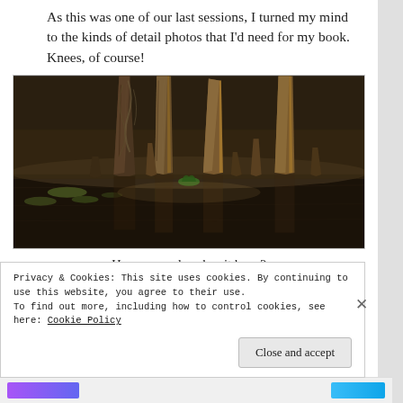As this was one of our last sessions, I turned my mind to the kinds of detail photos that I'd need for my book. Knees, of course!
[Figure (photo): Photograph of bald cypress knees rising from a dark swamp lake, with tall textured trunks reflected in still water, Spanish moss visible, golden-brown lighting]
How many days has it been?
Privacy & Cookies: This site uses cookies. By continuing to use this website, you agree to their use. To find out more, including how to control cookies, see here: Cookie Policy